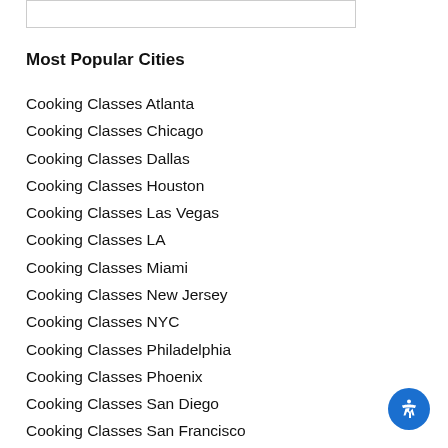Most Popular Cities
Cooking Classes Atlanta
Cooking Classes Chicago
Cooking Classes Dallas
Cooking Classes Houston
Cooking Classes Las Vegas
Cooking Classes LA
Cooking Classes Miami
Cooking Classes New Jersey
Cooking Classes NYC
Cooking Classes Philadelphia
Cooking Classes Phoenix
Cooking Classes San Diego
Cooking Classes San Francisco
Cooking Classes San Jose
Cooking Classes Seattle